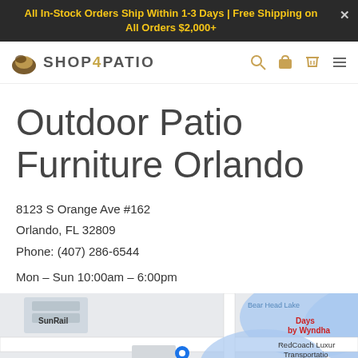All In-Stock Orders Ship Within 1-3 Days | Free Shipping on All Orders $2,000+
[Figure (logo): Shop4Patio logo with leaf icon and text]
Outdoor Patio Furniture Orlando
8123 S Orange Ave #162
Orlando, FL 32809
Phone: (407) 286-6544
Mon – Sun 10:00am – 6:00pm
[Figure (map): Google Maps partial screenshot showing the store location near SunRail, Wawa, Wendy's, Bear Head Lake, Days by Wyndham, and RedCoach Luxury Transportation]